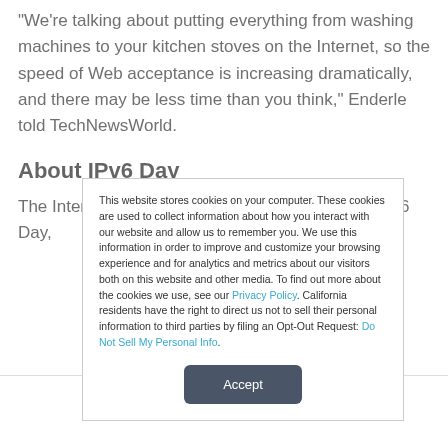“We’re talking about putting everything from washing machines to your kitchen stoves on the Internet, so the speed of Web acceptance is increasing dramatically, and there may be less time than you think,” Enderle told TechNewsWorld.
About IPv6 Day
The Internet Society, which is organizing World IPv6 Day,
This website stores cookies on your computer. These cookies are used to collect information about how you interact with our website and allow us to remember you. We use this information in order to improve and customize your browsing experience and for analytics and metrics about our visitors both on this website and other media. To find out more about the cookies we use, see our Privacy Policy. California residents have the right to direct us not to sell their personal information to third parties by filing an Opt-Out Request: Do Not Sell My Personal Info.
Accept